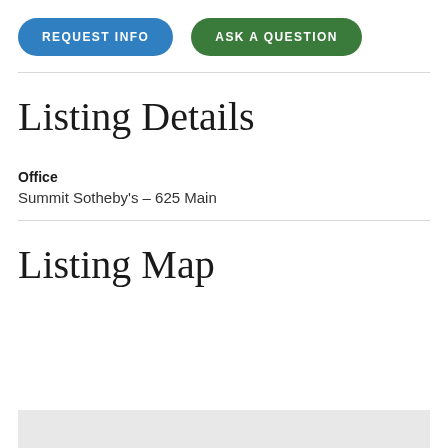[Figure (other): Two call-to-action buttons: 'REQUEST INFO' (blue) and 'ASK A QUESTION' (green)]
Listing Details
Office
Summit Sotheby's – 625 Main
Listing Map